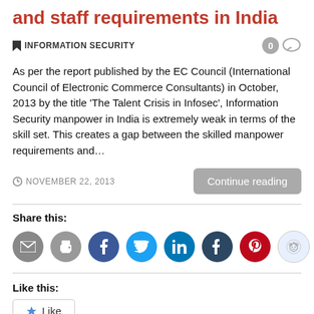and staff requirements in India
INFORMATION SECURITY
As per the report published by the EC Council (International Council of Electronic Commerce Consultants) in October, 2013 by the title ‘The Talent Crisis in Infosec’, Information Security manpower in India is extremely weak in terms of the skill set. This creates a gap between the skilled manpower requirements and…
NOVEMBER 22, 2013
Share this:
[Figure (infographic): Row of social sharing icon circles: email (gray), print (gray), Facebook (blue), Twitter (cyan/blue), LinkedIn (blue), Tumblr (dark navy), Pinterest (red), Reddit (light blue/gray)]
Like this:
Like
Be the first to like this.